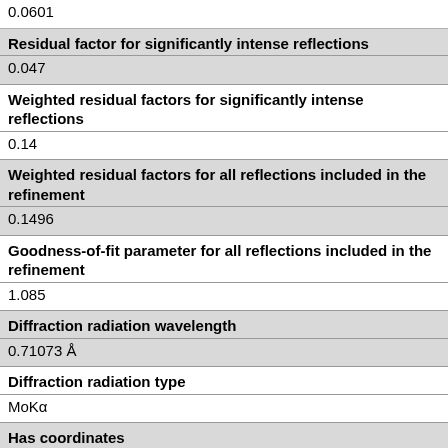0.0601
| Residual factor for significantly intense reflections | 0.047 |
| Weighted residual factors for significantly intense reflections | 0.14 |
| Weighted residual factors for all reflections included in the refinement | 0.1496 |
| Goodness-of-fit parameter for all reflections included in the refinement | 1.085 |
| Diffraction radiation wavelength | 0.71073 Å |
| Diffraction radiation type | MoKα |
| Has coordinates | Yes |
| Has disorder | No |
| Has Fobs | No |